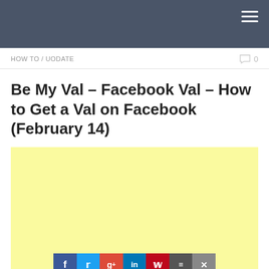HOW TO / UODATE
Be My Val – Facebook Val – How to Get a Val on Facebook (February 14)
[Figure (screenshot): Yellow advertisement block with social share bar at the bottom containing Facebook, Twitter, Google+, LinkedIn, Pinterest, menu, and close buttons]